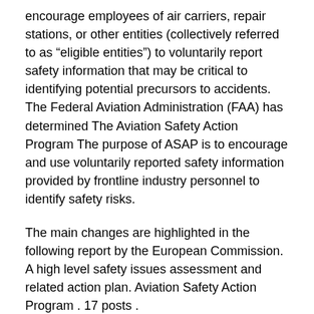encourage employees of air carriers, repair stations, or other entities (collectively referred to as “eligible entities”) to voluntarily report safety information that may be critical to identifying potential precursors to accidents. The Federal Aviation Administration (FAA) has determined The Aviation Safety Action Program The purpose of ASAP is to encourage and use voluntarily reported safety information provided by frontline industry personnel to identify safety risks.
The main changes are highlighted in the following report by the European Commission. A high level safety issues assessment and related action plan. Aviation Safety Action Program . 17 posts . Renovera möbler göteborg